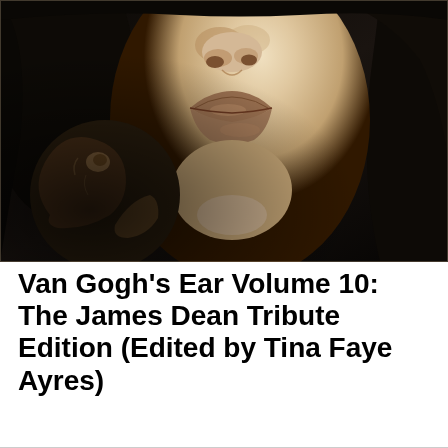[Figure (illustration): Sepia-toned pencil drawing of a woman's face (lower half: nose, lips, chin) with dark hair, holding a rose close to her face. Dark background with dramatic chiaroscuro shading.]
Van Gogh's Ear Volume 10: The James Dean Tribute Edition (Edited by Tina Faye Ayres)